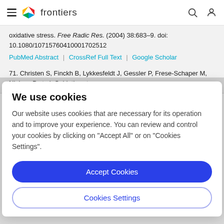frontiers
oxidative stress. Free Radic Res. (2004) 38:683–9. doi: 10.1080/10715760410001702512
PubMed Abstract | CrossRef Full Text | Google Scholar
71. Christen S, Finckh B, Lykkesfeldt J, Gessler P, Frese-Schaper M, Nielsen P et al. Oxidative stress ...
We use cookies
Our website uses cookies that are necessary for its operation and to improve your experience. You can review and control your cookies by clicking on "Accept All" or on "Cookies Settings".
Accept Cookies
Cookies Settings